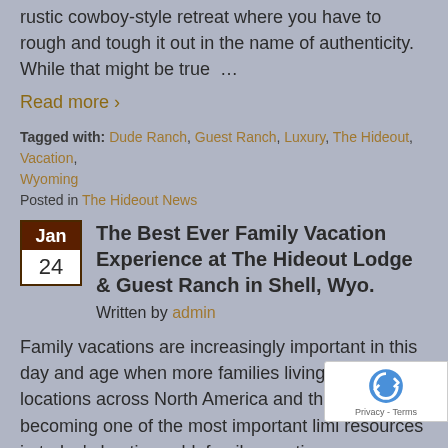rustic cowboy-style retreat where you have to rough and tough it out in the name of authenticity. While that might be true …
Read more ›
Tagged with: Dude Ranch, Guest Ranch, Luxury, The Hideout, Vacation, Wyoming
Posted in The Hideout News
The Best Ever Family Vacation Experience at The Hideout Lodge & Guest Ranch in Shell, Wyo.
Written by admin
Family vacations are increasingly important in this day and age when more families living in scattered locations across North America and the world time becoming one of the most important limi resources in today's hectic world, family vacations